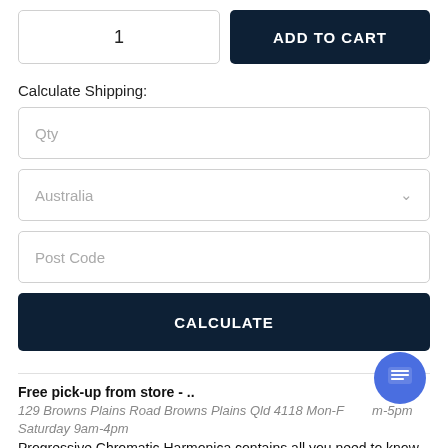1
ADD TO CART
Calculate Shipping:
Qty
Australia
Post Code
CALCULATE
Free pick-up from store - ..
129 Browns Plains Road Browns Plains Qld 4118 Mon-F[riday 9a]m-5pm Saturday 9am-4pm
Progressive Chromatic Harmonica contains all you need to know to